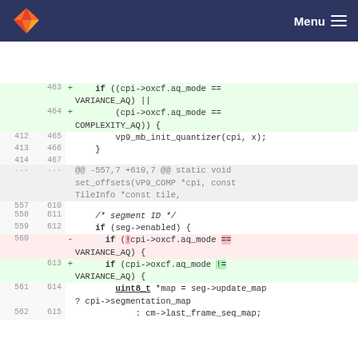GitLab — Menu
[Figure (screenshot): Git diff view showing code changes in a C source file. Lines 463-467 show added lines with green background (if condition checking cpi->oxcf.aq_mode == VARIANCE_AQ or COMPLEXITY_AQ, vp9_mb_init_quantizer call). Lines 412-414 and 557-562/610-615 show context lines. A hunk header shows @@ -557,7 +610,7 @@ static void set_offsets(VP9_COMP *cpi, const TileInfo *const tile,. Line 560 is deleted (red) with !cpi->oxcf.aq_mode == VARIANCE_AQ. Line 613 is added (green) with cpi->oxcf.aq_mode != VARIANCE_AQ. Lines 561/614 show uint8_t *map = seg->update_map ? cpi->segmentation_map. Lines 562/615 show : cm->last_frame_seq_map;]